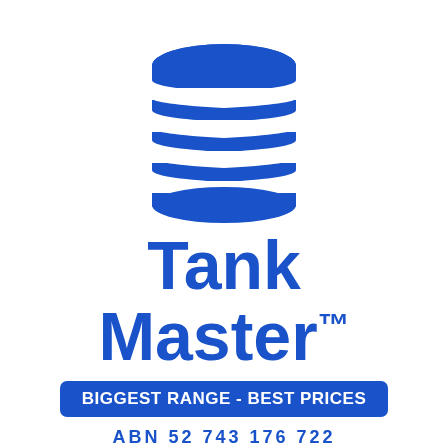[Figure (logo): Tank Master logo: a blue cylindrical tank icon with horizontal stripe segments on top, followed by the brand name 'Tank Master' in large bold blue text, a blue rounded rectangle banner with white bold text 'BIGGEST RANGE - BEST PRICES', and ABN number below.]
ABN 52 743 176 722